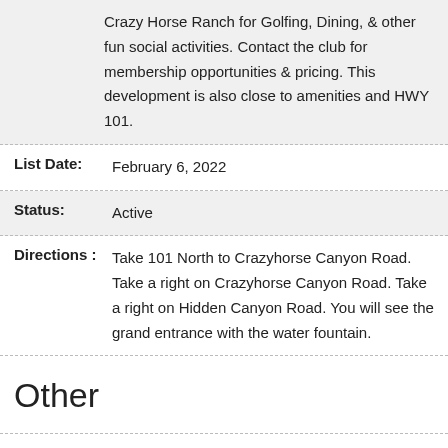Crazy Horse Ranch for Golfing, Dining, & other fun social activities. Contact the club for membership opportunities & pricing. This development is also close to amenities and HWY 101.
List Date: February 6, 2022
Status: Active
Directions: Take 101 North to Crazyhorse Canyon Road. Take a right on Crazyhorse Canyon Road. Take a right on Hidden Canyon Road. You will see the grand entrance with the water fountain.
Other